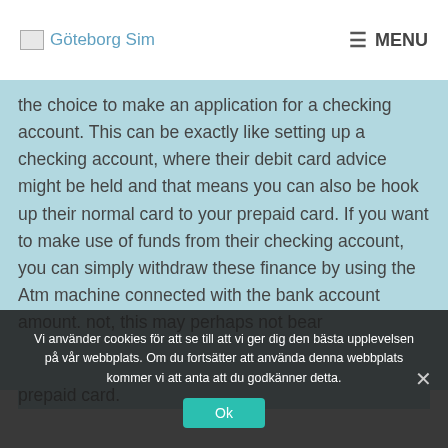Göteborg Sim | MENU
the choice to make an application for a checking account. This can be exactly like setting up a checking account, where their debit card advice might be held and that means you can also be hook up their normal card to your prepaid card. If you want to make use of funds from their checking account, you can simply withdraw these finance by using the Atm machine connected with the bank account amount. not, this may perhaps not bear
Vi använder cookies för att se till att vi ger dig den bästa upplevelsen på vår webbplats. Om du fortsätter att använda denna webbplats kommer vi att anta att du godkänner detta.
prepaid card.